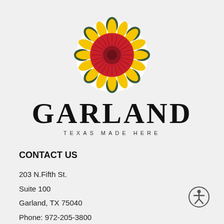[Figure (logo): City of Garland Texas circular flower/sunflower logo with red, yellow and dark green colors]
GARLAND
TEXAS MADE HERE
CONTACT US
203 N.Fifth St.
Suite 100
Garland, TX 75040
Phone: 972-205-3800
Email
[Figure (illustration): Accessibility icon - person in circle symbol]